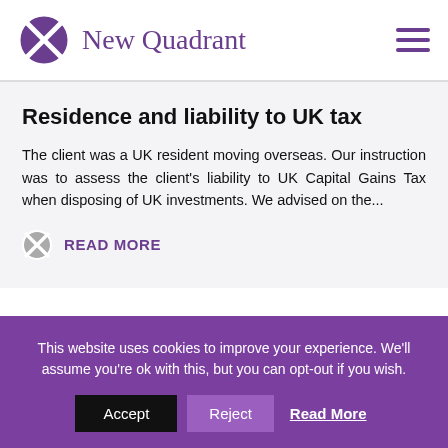New Quadrant
Residence and liability to UK tax
The client was a UK resident moving overseas. Our instruction was to assess the client's liability to UK Capital Gains Tax when disposing of UK investments. We advised on the...
READ MORE
This website uses cookies to improve your experience. We'll assume you're ok with this, but you can opt-out if you wish.